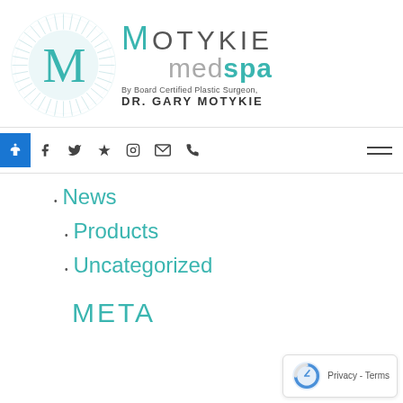[Figure (logo): Motykie MedSpa logo with circular radiating design, large teal M letter, and text 'MOTYKIE medspa By Board Certified Plastic Surgeon, DR. GARY MOTYKIE']
Navigation bar with social icons: Facebook, Twitter, Yelp, Instagram, Email, Phone, and hamburger menu
• News
• Products
• Uncategorized
META